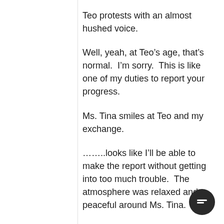Teo protests with an almost hushed voice.
Well, yeah, at Teo’s age, that’s normal.  I’m sorry.  This is like one of my duties to report your progress.
Ms. Tina smiles at Teo and my exchange.
……..looks like I’ll be able to make the report without getting into too much trouble.  The atmosphere was relaxed and peaceful around Ms. Tina.
And after a while, she brought a seafood and vegetable stew in a large clay pot.